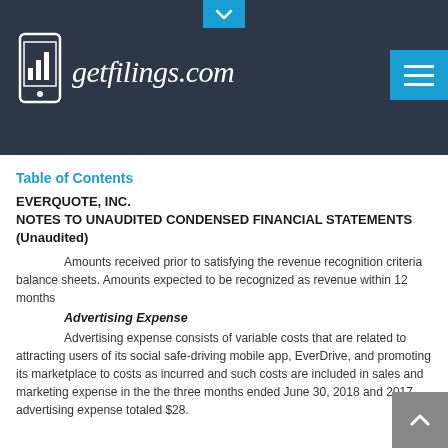getfilings.com
Table of Contents
EVERQUOTE, INC.
NOTES TO UNAUDITED CONDENSED FINANCIAL STATEMENTS
(Unaudited)
Amounts received prior to satisfying the revenue recognition criteria balance sheets. Amounts expected to be recognized as revenue within 12 months
Advertising Expense
Advertising expense consists of variable costs that are related to attracting users of its social safe-driving mobile app, EverDrive, and promoting its marketplace to costs as incurred and such costs are included in sales and marketing expense in the the three months ended June 30, 2018 and 2017, advertising expense totaled $28.